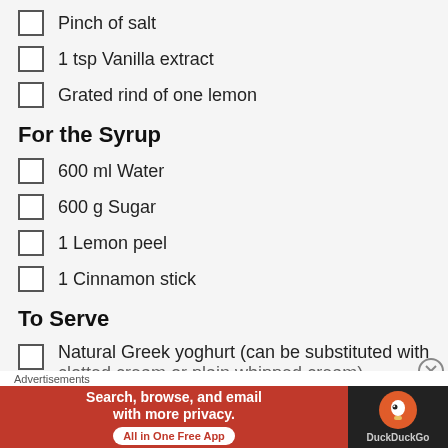Pinch of salt
1 tsp Vanilla extract
Grated rind of one lemon
For the Syrup
600 ml Water
600 g Sugar
1 Lemon peel
1 Cinnamon stick
To Serve
Natural Greek yoghurt (can be substituted with clotted cream or plain whipped cream)
Advertisements
[Figure (screenshot): DuckDuckGo advertisement banner: 'Search, browse, and email with more privacy. All in One Free App' with DuckDuckGo logo on dark background]